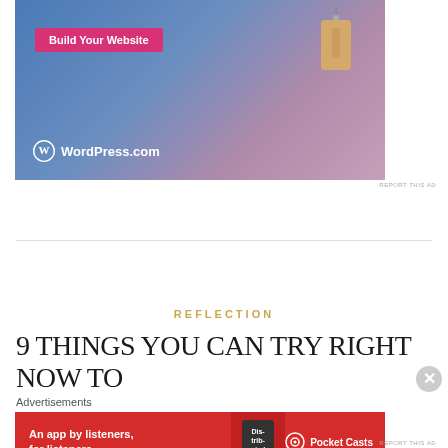[Figure (screenshot): WordPress.com advertisement with blue-purple gradient background, a pink 'Build Your Website' button, a hanging price tag graphic, and WordPress.com logo at bottom left]
REPORT THIS AD
REFLECTION
9 THINGS YOU CAN TRY RIGHT NOW TO
Advertisements
[Figure (screenshot): Pocket Casts red advertisement banner: 'An app by listeners, for listeners.' with podcast app image and Pocket Casts logo]
REPORT THIS AD